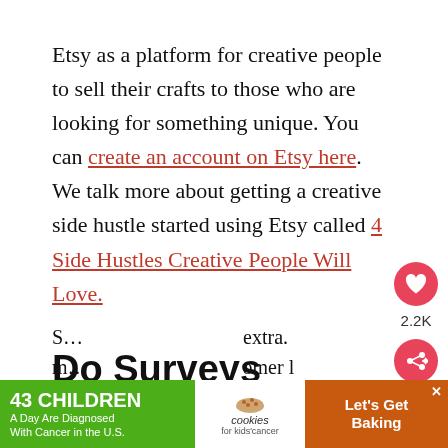Etsy as a platform for creative people to sell their crafts to those who are looking for something unique. You can create an account on Etsy here. We talk more about getting a creative side hustle started using Etsy called 4 Side Hustles Creative People Will Love.
Do Surveys
S... extra. m... omer l...
[Figure (other): Social share sidebar with heart icon button showing 2.2K likes and a share button]
[Figure (other): Advertisement banner: '43 CHILDREN A Day Are Diagnosed With Cancer in the U.S.' with cookies for kids cancer and Let's Get Baking promotion]